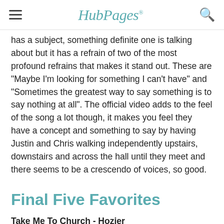HubPages
has a subject, something definite one is talking about but it has a refrain of two of the most profound refrains that makes it stand out. These are "Maybe I'm looking for something I can't have" and "Sometimes the greatest way to say something is to say nothing at all". The official video adds to the feel of the song a lot though, it makes you feel they have a concept and something to say by having Justin and Chris walking independently upstairs, downstairs and across the hall until they meet and there seems to be a crescendo of voices, so good.
Final Five Favorites
Take Me To Church - Hozier